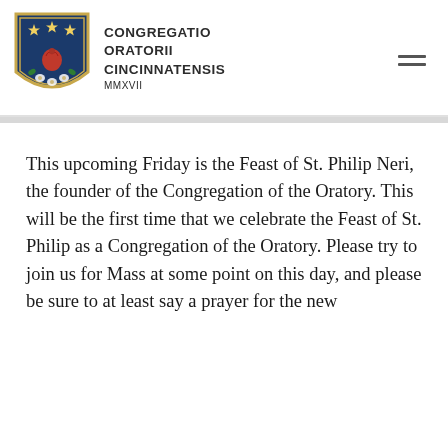[Figure (logo): Shield-shaped crest with dark blue background, gold stars at top, red heart/fruit motif in center, white floral elements at bottom, gold border. Beside it: CONGREGATIO ORATORII CINCINNATENSIS MMXVII in bold sans-serif text.]
This upcoming Friday is the Feast of St. Philip Neri, the founder of the Congregation of the Oratory. This will be the first time that we celebrate the Feast of St. Philip as a Congregation of the Oratory. Please try to join us for Mass at some point on this day, and please be sure to at least say a prayer for the new